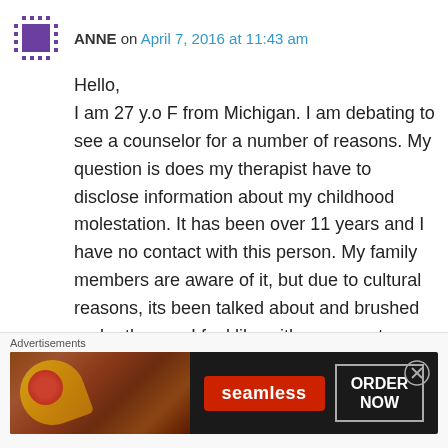ANNE on April 7, 2016 at 11:43 am
Hello,
I am 27 y.o F from Michigan. I am debating to see a counselor for a number of reasons. My question is does my therapist have to disclose information about my childhood molestation. It has been over 11 years and I have no contact with this person. My family members are aware of it, but due to cultural reasons, its been talked about and brushed under the rug. I feel like with my recent problems, its important to bring that up, but again I am worried about it being
Advertisements
[Figure (other): Seamless food delivery advertisement banner. Shows pizza image on the left, Seamless logo in red in the center, and ORDER NOW button on the right against a dark background.]